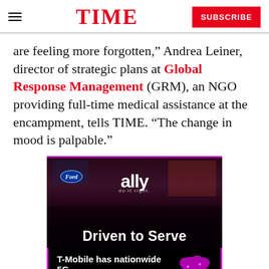TIME | SUBSCRIBE
are feeling more forgotten,” Andrea Leiner, director of strategic plans at Global Response Management (GRM), an NGO providing full-time medical assistance at the encampment, tells TIME. “The change in mood is palpable.”
[Figure (screenshot): Advertisement video thumbnail for Ally Financial 'Driven to Serve' with text overlay, and below it a T-Mobile 5G advertisement banner.]